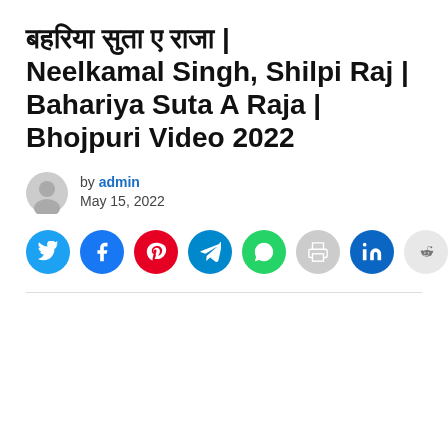बहरिया सुता ए राजा | Neelkamal Singh, Shilpi Raj | Bahariya Suta A Raja | Bhojpuri Video 2022
by admin — May 15, 2022